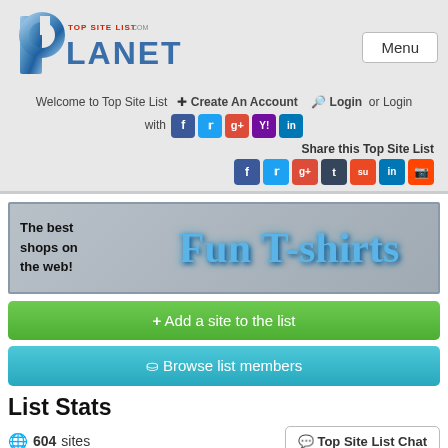[Figure (logo): Top Site List Planet logo with large stylized P and metallic blue text]
Welcome to Top Site List  Create An Account  Login or Login with [social icons: f, t, g+, Y!, in]
Share this Top Site List [social icons: f, t, g+, t, su, in, reddit]
[Figure (illustration): Banner ad: 'The best shops on the web! Fun T-shirts' on grey background with blue stylized text]
+ Add a site to the list
Browse list members
List Stats
604 sites
Top Site List Chat